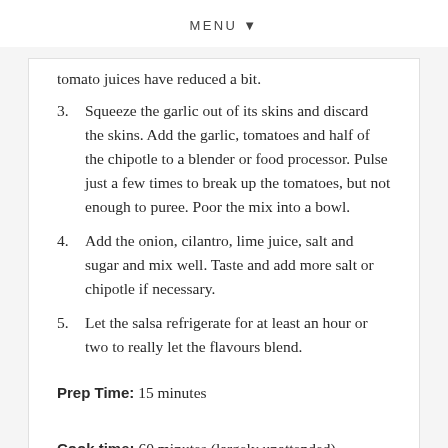MENU ▼
tomato juices have reduced a bit.
3. Squeeze the garlic out of its skins and discard the skins. Add the garlic, tomatoes and half of the chipotle to a blender or food processor. Pulse just a few times to break up the tomatoes, but not enough to puree. Poor the mix into a bowl.
4. Add the onion, cilantro, lime juice, salt and sugar and mix well. Taste and add more salt or chipotle if necessary.
5. Let the salsa refrigerate for at least an hour or two to really let the flavours blend.
Prep Time: 15 minutes
Cook time: 60 minutes (largely unattended)